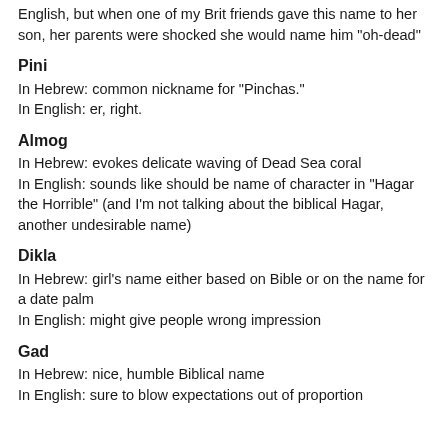English, but when one of my Brit friends gave this name to her son, her parents were shocked she would name him "oh-dead"
Pini
In Hebrew: common nickname for "Pinchas."
In English: er, right.
Almog
In Hebrew: evokes delicate waving of Dead Sea coral
In English: sounds like should be name of character in "Hagar the Horrible" (and I'm not talking about the biblical Hagar, another undesirable name)
Dikla
In Hebrew: girl's name either based on Bible or on the name for a date palm
In English: might give people wrong impression
Gad
In Hebrew: nice, humble Biblical name
In English: sure to blow expectations out of proportion